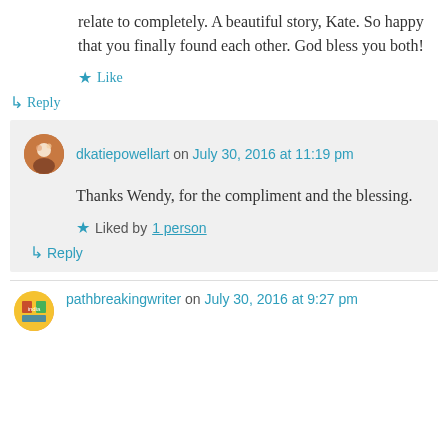relate to completely. A beautiful story, Kate. So happy that you finally found each other. God bless you both!
★ Like
↳ Reply
dkatiepowellart on July 30, 2016 at 11:19 pm
Thanks Wendy, for the compliment and the blessing.
★ Liked by 1 person
↳ Reply
pathbreakingwriter on July 30, 2016 at 9:27 pm